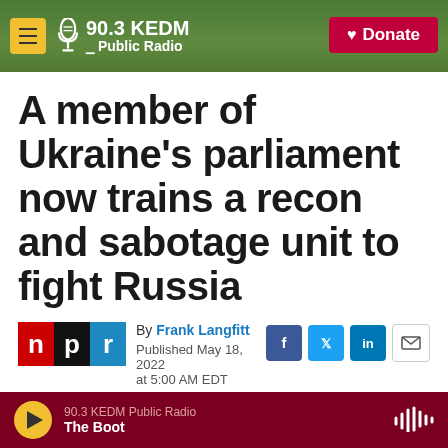90.3 KEDM Public Radio — Donate
A member of Ukraine's parliament now trains a recon and sabotage unit to fight Russia
By Frank Langfitt
Published May 18, 2022
at 5:00 AM EDT
90.3 KEDM Public Radio — The Boot